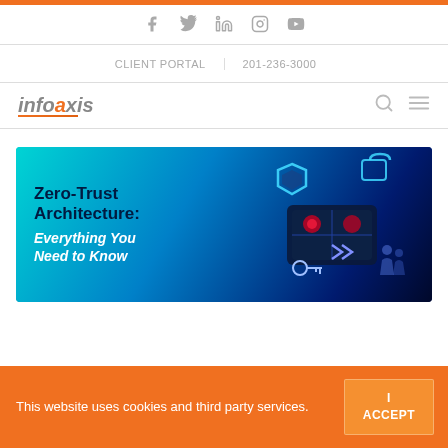Orange top bar
Social icons: f, Twitter, in, Instagram, YouTube
CLIENT PORTAL | 201-236-3000
infoaxis logo, search icon, menu icon
[Figure (illustration): Hero banner image for Zero-Trust Architecture article. Teal-to-dark-blue gradient background with cybersecurity icons (shield, lock, key, data tablet with security symbols, silhouette figures). Left side has bold text: 'Zero-Trust Architecture: Everything You Need to Know']
This website uses cookies and third party services.
I ACCEPT